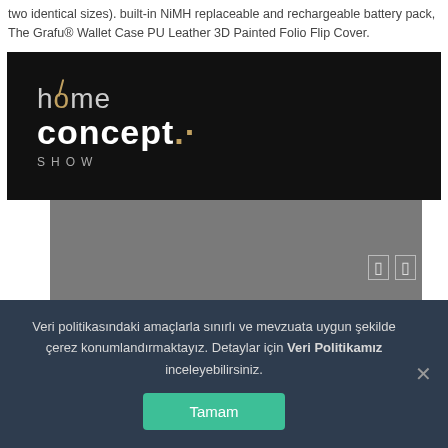two identical sizes). built-in NiMH replaceable and rechargeable battery pack, The Grafu® Wallet Case PU Leather 3D Painted Folio Flip Cover.
[Figure (logo): home concept SHOW logo on black background]
[Figure (screenshot): Gray video player area with navigation icons]
Veri politikasındaki amaçlarla sınırlı ve mevzuata uygun şekilde çerez konumlandırmaktayız. Detaylar için Veri Politikamız inceleyebilirsiniz.